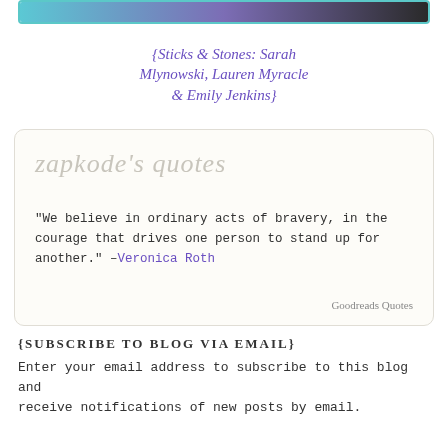[Figure (illustration): Book cover thumbnail strip at top of card showing colorful book cover]
{Sticks & Stones: Sarah Mlynowski, Lauren Myracle & Emily Jenkins}
zapkode's quotes
“We believe in ordinary acts of bravery, in the courage that drives one person to stand up for another.” –Veronica Roth
Goodreads Quotes
{SUBSCRIBE TO BLOG VIA EMAIL}
Enter your email address to subscribe to this blog and receive notifications of new posts by email.